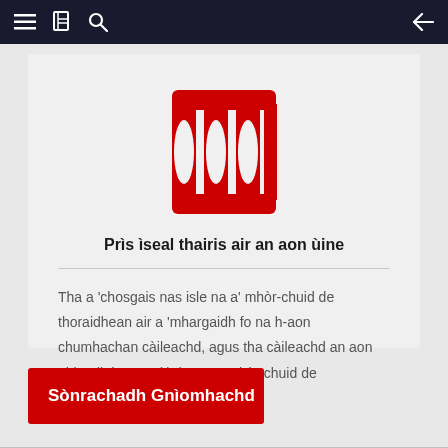Navigation bar with menu, book, search icons and back arrow
[Figure (logo): Red Gemini/column-style symbol icon with three vertical pillars connected by horizontal bars at top and bottom]
Prìs ìseal thairis air an aon ùine
Tha a 'chosgais nas isle na a' mhòr-chuid de thoraidhean air a 'mhargaidh fo na h-aon chumhachan càileachd, agus tha càileachd an aon ghlaodh ìre nas àirde na a' mhòr-chuid de thoraidhean air a 'mhargaidh.
Sònrachadh Gnìomhachd